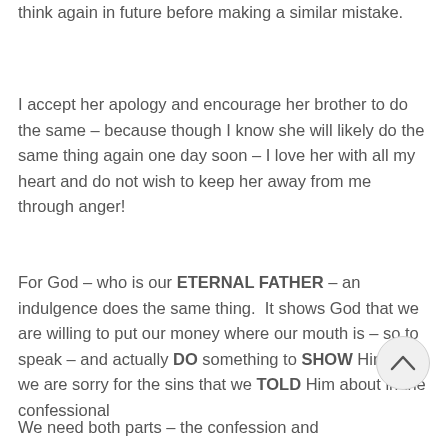think again in future before making a similar mistake.
I accept her apology and encourage her brother to do the same – because though I know she will likely do the same thing again one day soon – I love her with all my heart and do not wish to keep her away from me through anger!
For God – who is our ETERNAL FATHER – an indulgence does the same thing.  It shows God that we are willing to put our money where our mouth is – so to speak – and actually DO something to SHOW Him that we are sorry for the sins that we TOLD Him about in the confessional
We need both parts – the confession and